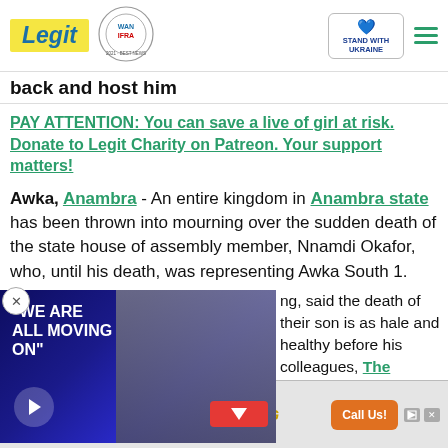Legit — WAN IFRA Best News Website in Africa 2021 | Stand with Ukraine
back and host him
PAY ATTENTION: You can save a live of girl at risk. Donate to Legit Charity on Patreon. Your support matters!
Awka, Anambra - An entire kingdom in Anambra state has been thrown into mourning over the sudden death of the state house of assembly member, Nnamdi Okafor, who, until his death, was representing Awka South 1.
[Figure (other): Video overlay showing two people with text 'WE ARE ALL MOVING ON' and play button]
ng, said the death of their son is as hale and healthy before his colleagues, The Nation
[Figure (other): Advertisement banner for Excell Consulting - Construction Contract Claims and Construction Claims Management with Call Us button]